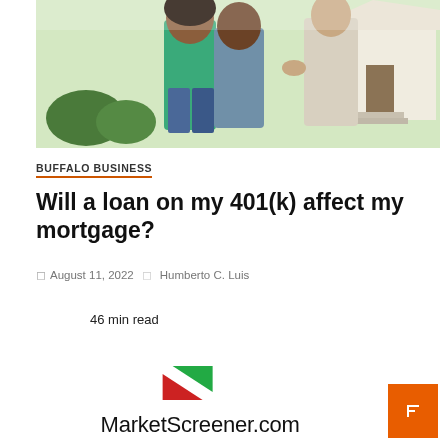[Figure (photo): Photo of two people (a couple) meeting with a real estate agent or mortgage professional in front of a house outdoors. The woman is wearing a green top and the agent is wearing a light gray suit.]
BUFFALO BUSINESS
Will a loan on my 401(k) affect my mortgage?
August 11, 2022  Humberto C. Luis
46 min read
[Figure (logo): MarketScreener.com logo with green and red triangular arrow icon above the text]